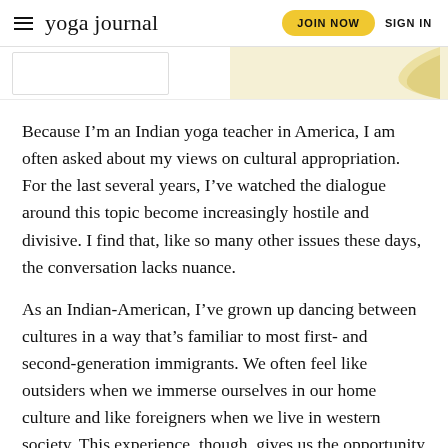yoga journal  JOIN NOW  SIGN IN
[Figure (illustration): Partial view of a card/image strip at the top of the article page with a light yellow background and decorative shape visible on the right side.]
Because I’m an Indian yoga teacher in America, I am often asked about my views on cultural appropriation. For the last several years, I’ve watched the dialogue around this topic become increasingly hostile and divisive. I find that, like so many other issues these days, the conversation lacks nuance.
As an Indian-American, I’ve grown up dancing between cultures in a way that’s familiar to most first- and second-generation immigrants. We often feel like outsiders when we immerse ourselves in our home culture and like foreigners when we live in western society. This experience, though, gives us the opportunity to find an inner authenticity that grounds us in each environment and allows us to see the virtues and flaws